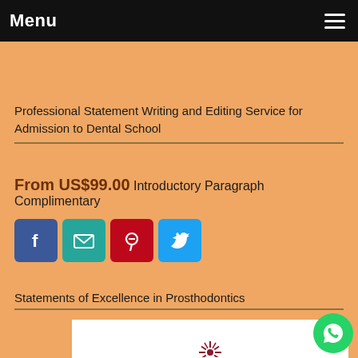Menu
Professional Statement Writing and Editing Service for Admission to Dental School
From US$99.00 Introductory Paragraph Complimentary
[Figure (infographic): Social media share buttons: Facebook (blue), Email (teal), Pinterest (red), Twitter (blue)]
Statements of Excellence in Prosthodontics
[Figure (logo): National organization logo with sunburst icon and text NATIONAL]